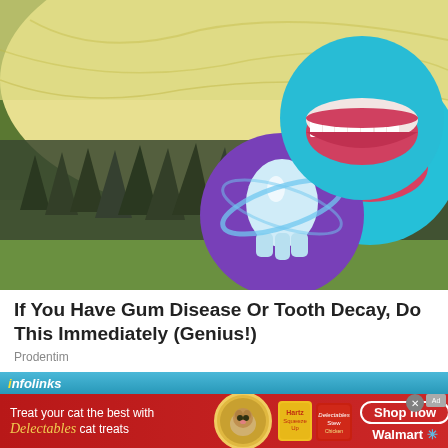[Figure (photo): Close-up photo of a durian fruit with its spiky green shell and creamy yellow flesh visible. Overlaid are two circular dental/oral health graphics: a teal circle in the upper right showing a smiling mouth with white teeth and red lips, and a purple circle in the center-right showing an illustrated white tooth with a glowing orbital ring around it.]
If You Have Gum Disease Or Tooth Decay, Do This Immediately (Genius!)
Prodentim
[Figure (screenshot): Infolinks advertisement bar followed by a Delectables cat treats ad for Walmart. The ad shows 'Treat your cat the best with Delectables cat treats' text on red background, a photo of a cat in a yellow heart circle, product images of Hartz Squeeze Up and Delectables Stew cat treats, a 'Shop now' button, and 'Walmart' logo with spark icon.]